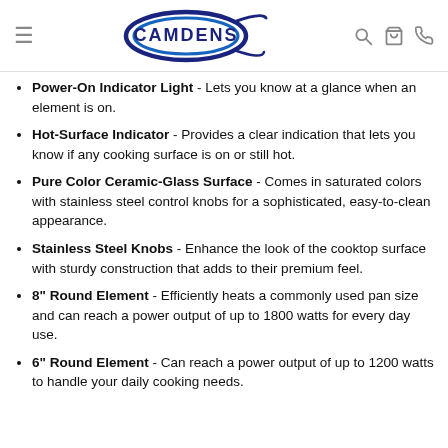Camdens logo with navigation icons (hamburger menu, search, cart, phone)
Power-On Indicator Light - Lets you know at a glance when an element is on.
Hot-Surface Indicator - Provides a clear indication that lets you know if any cooking surface is on or still hot.
Pure Color Ceramic-Glass Surface - Comes in saturated colors with stainless steel control knobs for a sophisticated, easy-to-clean appearance.
Stainless Steel Knobs - Enhance the look of the cooktop surface with sturdy construction that adds to their premium feel.
8" Round Element - Efficiently heats a commonly used pan size and can reach a power output of up to 1800 watts for every day use.
6" Round Element - Can reach a power output of up to 1200 watts to handle your daily cooking needs.